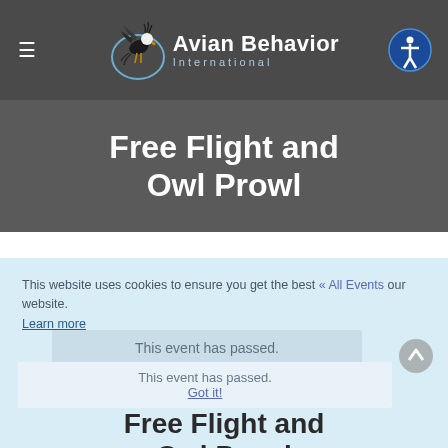≡  Avian Behavior International
Free Flight and Owl Prowl
This website uses cookies to ensure you get the best « All Events » our website. Learn more
This event has passed.
This event has passed. Got it!
Free Flight and Owl Prowl